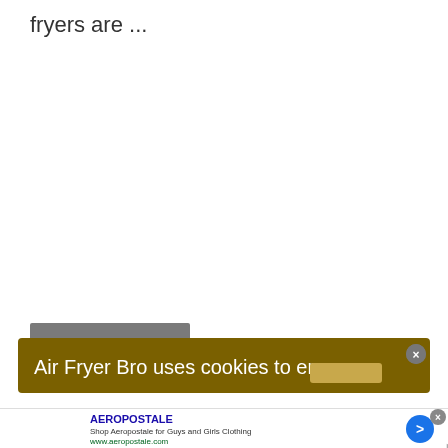fryers are ...
[Figure (screenshot): Gray loading/progress bar element]
Air Fryer Bro uses cookies to ensure
[Figure (screenshot): Advertisement for Aeropostale: 'AEROPOSTALE - Shop Aeropostale for Guys and Girls Clothing - www.aeropostale.com' with blue circular arrow button and close X button]